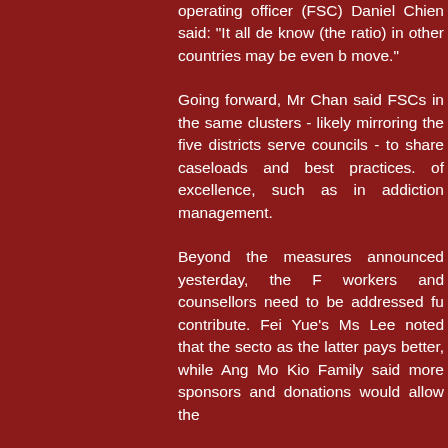operating officer (FSC) Daniel Chien said: "It all de know (the ratio) in other countries may be even b move."
Going forward, Mr Chan said FSCs in the same clusters - likely mirroring the five districts serve councils - to share caseloads and best practices. of excellence, such as in addiction management.
Beyond the measures announced yesterday, the F workers and counsellors need to be addressed fu contribute. Fei Yue's Ms Lee noted that the secto as the latter pays better, while Ang Mo Kio Family said more sponsors and donations would allow the
New branch will help more residents
by Neo Chai Chin